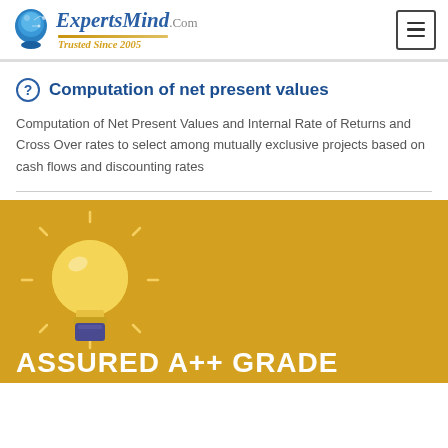ExpertsMind.Com Trusted Since 2005
Computation of net present values
Computation of Net Present Values and Internal Rate of Returns and Cross Over rates to select among mutually exclusive projects based on cash flows and discounting rates
[Figure (illustration): Light bulb icon on gold background]
ASSURED A++ GRADE